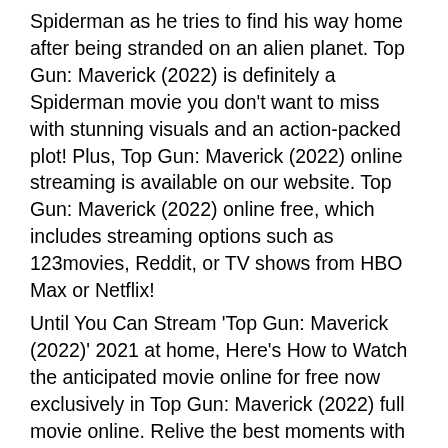Spiderman as he tries to find his way home after being stranded on an alien planet. Top Gun: Maverick (2022) is definitely a Spiderman movie you don't want to miss with stunning visuals and an action-packed plot! Plus, Top Gun: Maverick (2022) online streaming is available on our website. Top Gun: Maverick (2022) online free, which includes streaming options such as 123movies, Reddit, or TV shows from HBO Max or Netflix!
Until You Can Stream 'Top Gun: Maverick (2022)' 2021 at home, Here's How to Watch the anticipated movie online for free now exclusively in Top Gun: Maverick (2022) full movie online. Relive the best moments with Tom Holland, Zendaya, Jacob Batalon, and more from the Top Gun: Maverick (2022) Red Carpet presented by Marvel Unlimited. The online streaming is excellent to watch movies free online.
Will be the final adventure, but there...